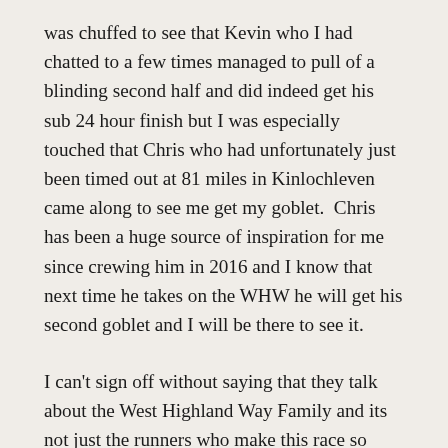was chuffed to see that Kevin who I had chatted to a few times managed to pull of a blinding second half and did indeed get his sub 24 hour finish but I was especially touched that Chris who had unfortunately just been timed out at 81 miles in Kinlochleven came along to see me get my goblet.  Chris has been a huge source of inspiration for me since crewing him in 2016 and I know that next time he takes on the WHW he will get his second goblet and I will be there to see it.
I can't sign off without saying that they talk about the West Highland Way Family and its not just the runners who make this race so very special, it is everyone involved with it, from the race directors and committee to the crew, volunteers and supporters who give up their whole weekend, miss out on at least one if not two nights of sleep and put someone else before themselves to help them complete their goals. Thank